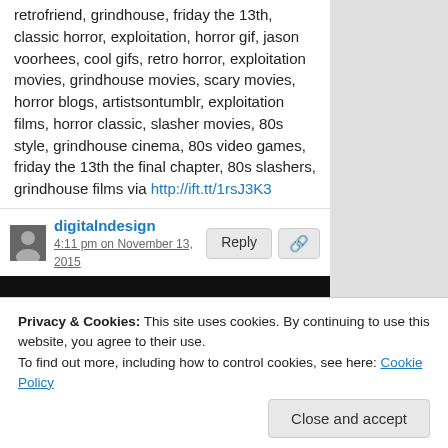retrofriend, grindhouse, friday the 13th, classic horror, exploitation, horror gif, jason voorhees, cool gifs, retro horror, exploitation movies, grindhouse movies, scary movies, horror blogs, artistsontumblr, exploitation films, horror classic, slasher movies, 80s style, grindhouse cinema, 80s video games, friday the 13th the final chapter, 80s slashers, grindhouse films via http://ift.tt/1rsJ3K3
digitalndesign
4:11 pm on November 13, 2015
[Figure (photo): Friday the 13th movie title card on black background with red stylized horror font text reading FRIDAY THE 13TH]
Privacy & Cookies: This site uses cookies. By continuing to use this website, you agree to their use. To find out more, including how to control cookies, see here: Cookie Policy